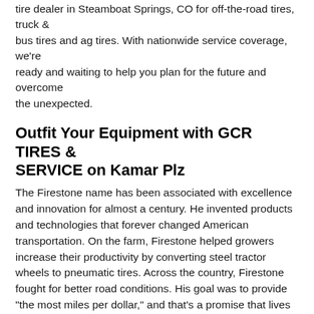tire dealer in Steamboat Springs, CO for off-the-road tires, truck & bus tires and ag tires. With nationwide service coverage, we're ready and waiting to help you plan for the future and overcome the unexpected.
Outfit Your Equipment with GCR TIRES & SERVICE on Kamar Plz
The Firestone name has been associated with excellence and innovation for almost a century. He invented products and technologies that forever changed American transportation. On the farm, Firestone helped growers increase their productivity by converting steel tractor wheels to pneumatic tires. Across the country, Firestone fought for better road conditions. His goal was to provide "the most miles per dollar," and that's a promise that lives on at Firestone Commercial. Find Firestone Commercial tires at 1856 Kamar Pl for tires you can trust, job after job. On top of supreme performance, all of our heavy-duty tires are backed by respected limited warranties and customer service. Learn more about the Firestone inventory of commercial tires in Steamboat Springs and reach out to GCR TIRES & SERVICE